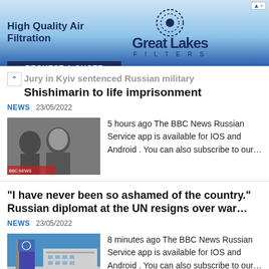[Figure (other): Advertisement banner for Great Lakes Filters - High Quality Air Filtration with REQUEST A QUOTE button]
Jury in Kyiv sentenced Russian military Shishimarin to life imprisonment
NEWS  23/05/2022
[Figure (photo): Photo of a young man looking down, likely a courtroom photo of Shishimarin]
5 hours ago The BBC News Russian Service app is available for IOS and Android . You can also subscribe to our…
"I have never been so ashamed of the country." Russian diplomat at the UN resigns over war…
NEWS  23/05/2022
[Figure (photo): Photo of a UN building with flags, including the United Nations flag]
8 minutes ago The BBC News Russian Service app is available for IOS and Android . You can also subscribe to our…